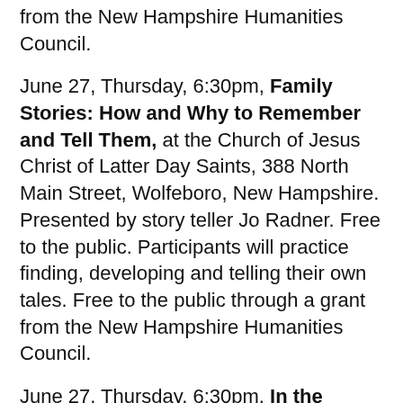from the New Hampshire Humanities Council.
June 27, Thursday, 6:30pm, Family Stories: How and Why to Remember and Tell Them, at the Church of Jesus Christ of Latter Day Saints, 388 North Main Street, Wolfeboro, New Hampshire. Presented by story teller Jo Radner. Free to the public. Participants will practice finding, developing and telling their own tales. Free to the public through a grant from the New Hampshire Humanities Council.
June 27, Thursday, 6:30pm, In the Shadow of Salem, at the Salem Witch Museum, 19 ½ Washington Square, in Salem, Massachusetts. A night with author and historian Richard Hite as he discusses his new book. There will be an hour talk followed by questions and book signing. Free to the public, books will be available for purchase on site.